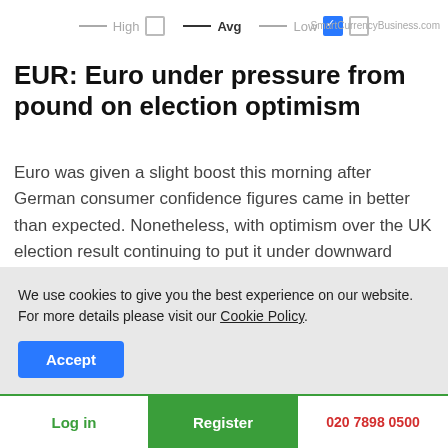[Figure (other): Chart legend showing High, Avg, and Low lines with checkboxes. Avg has a filled checkbox/checked state, Low has a blue filled checkbox.]
SmartCurrencyBusiness.com
EUR: Euro under pressure from pound on election optimism
Euro was given a slight boost this morning after German consumer confidence figures came in better than expected. Nonetheless, with optimism over the UK election result continuing to put it under downward pressure. There was also some positivity yesterday, as German business climate figures showed a small improvement to 95 points
We use cookies to give you the best experience on our website. For more details please visit our Cookie Policy.
Accept
Log in   Register   020 7898 0500